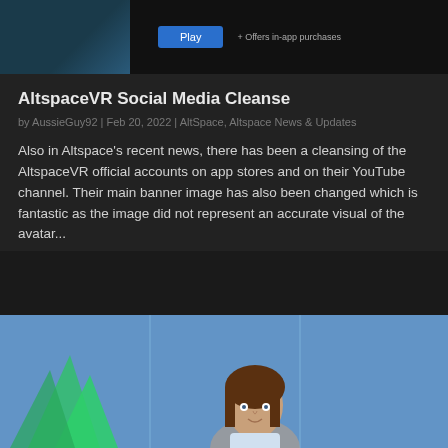[Figure (screenshot): App store screenshot showing a blue background image thumbnail, a blue Play button, and '+ Offers in-app purchases' text]
AltspaceVR Social Media Cleanse
by AussieGuy92 | Feb 20, 2022 | AltSpace, Altspace News & Updates
Also in Altspace's recent news, there has been a cleansing of the AltspaceVR official accounts on app stores and on their YouTube channel. Their main banner image has also been changed which is fantastic as the image did not represent an accurate visual of the avatar...
[Figure (screenshot): Screenshot showing a VR avatar with brown hair and a green geometric shape on the left, against a blue background]